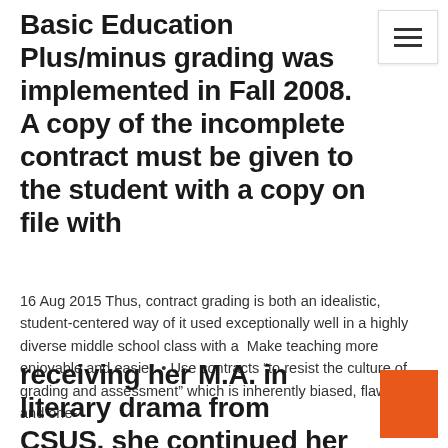Basic Education Plus/minus grading was implemented in Fall 2008. A copy of the incomplete contract must be given to the student with a copy on file with
16 Aug 2015 Thus, contract grading is both an idealistic, student-centered way of it used exceptionally well in a highly diverse middle school class with a  Make teaching more enjoyable and easier. • Use contracts “to resist the culture of grading and assessment” which is inherently biased, flawed, and one-
receiving her M.A. in literary drama from CSUS, she continued her education as a